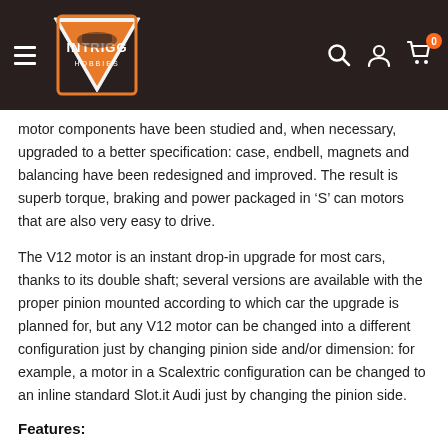INTRIGG header with logo, search, account, and cart icons
motor components have been studied and, when necessary, upgraded to a better specification: case, endbell, magnets and balancing have been redesigned and improved. The result is superb torque, braking and power packaged in ‘S’ can motors that are also very easy to drive.
The V12 motor is an instant drop-in upgrade for most cars, thanks to its double shaft; several versions are available with the proper pinion mounted according to which car the upgrade is planned for, but any V12 motor can be changed into a different configuration just by changing pinion side and/or dimension: for example, a motor in a Scalextric configuration can be changed to an inline standard Slot.it Audi just by changing the pinion side.
Features: